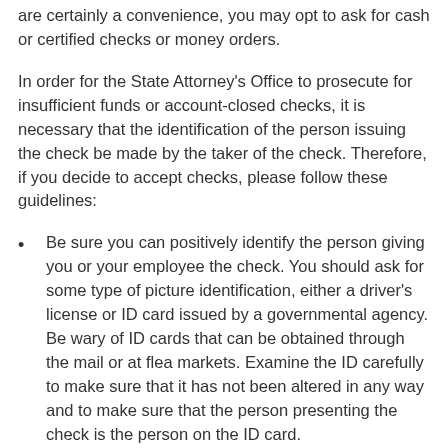are certainly a convenience, you may opt to ask for cash or certified checks or money orders.
In order for the State Attorney's Office to prosecute for insufficient funds or account-closed checks, it is necessary that the identification of the person issuing the check be made by the taker of the check. Therefore, if you decide to accept checks, please follow these guidelines:
Be sure you can positively identify the person giving you or your employee the check. You should ask for some type of picture identification, either a driver's license or ID card issued by a governmental agency. Be wary of ID cards that can be obtained through the mail or at flea markets. Examine the ID carefully to make sure that it has not been altered in any way and to make sure that the person presenting the check is the person on the ID card.
Do not accept checks that are post-dated (a check bearing a date in the future, i.e., a check written on January 1, 2019, should not be dated January 2...